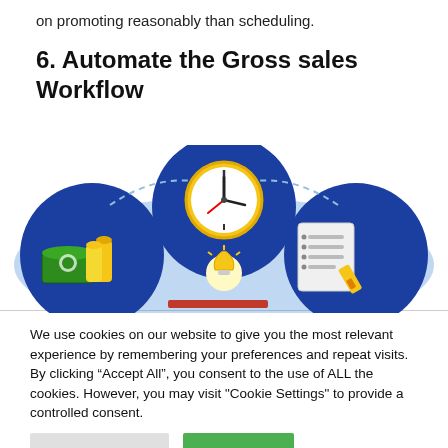on promoting reasonably than scheduling.
6. Automate the Gross sales Workflow
[Figure (illustration): Illustration showing a sales workflow automation concept with a clock at the top center, money/coins on the left, a document with a pen on the right, and a lightbulb in the middle bottom, all connected by blue organic shapes and dashed circular arrows.]
We use cookies on our website to give you the most relevant experience by remembering your preferences and repeat visits. By clicking “Accept All”, you consent to the use of ALL the cookies. However, you may visit "Cookie Settings" to provide a controlled consent.
Cookie Settings    Accept All